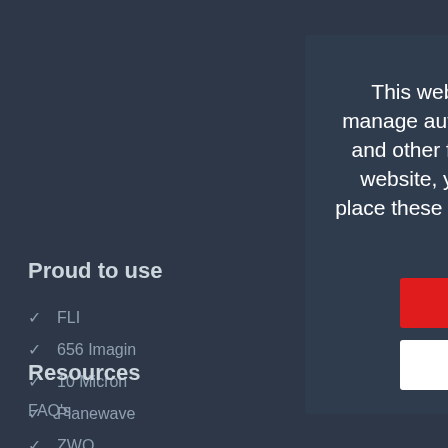Proud to use
FLI
656 Imaging
10 Micron
Planewave
ZWO
Resources
FAQ's
This website uses cookies to manage authentication, navigation, and other functions. By using our website, you agree that we can place these types of cookies on your device.
I Decline
I Agree